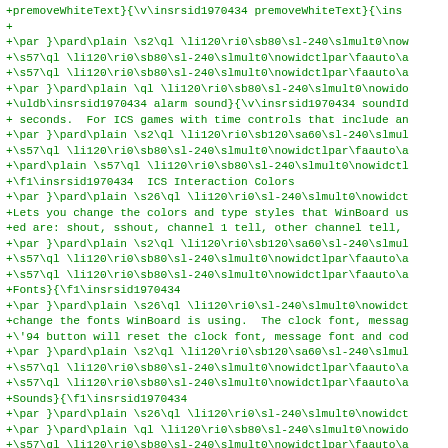+premoveWhiteText}{\v\insrsid1970434 premoveWhiteText}{\ins
+
+\par }\pard\plain \s2\ql \li120\ri0\sb80\sl-240\slmult0\now
+\s57\ql \li120\ri0\sb80\sl-240\slmult0\nowidctlpar\faauto\a
+\s57\ql \li120\ri0\sb80\sl-240\slmult0\nowidctlpar\faauto\a
+\par }\pard\plain \ql \li120\ri0\sb80\sl-240\slmult0\nowido
+\uldb\insrsid1970434 alarm sound}{\v\insrsid1970434 soundId
+ seconds.  For ICS games with time controls that include an
+\par }\pard\plain \s2\ql \li120\ri0\sb120\sa60\sl-240\slmul
+\s57\ql \li120\ri0\sb80\sl-240\slmult0\nowidctlpar\faauto\a
+\pard\plain \s57\ql \li120\ri0\sb80\sl-240\slmult0\nowidctl
+\f1\insrsid1970434  ICS Interaction Colors
+\par }\pard\plain \s26\ql \li120\ri0\sl-240\slmult0\nowidct
+Lets you change the colors and type styles that WinBoard us
+ed are: shout, sshout, channel 1 tell, other channel tell,
+\par }\pard\plain \s2\ql \li120\ri0\sb120\sa60\sl-240\slmul
+\s57\ql \li120\ri0\sb80\sl-240\slmult0\nowidctlpar\faauto\a
+\s57\ql \li120\ri0\sb80\sl-240\slmult0\nowidctlpar\faauto\a
+Fonts}{\f1\insrsid1970434
+\par }\pard\plain \s26\ql \li120\ri0\sl-240\slmult0\nowidct
+change the fonts WinBoard is using.  The clock font, messag
+\'94 button will reset the clock font, message font and cod
+\par }\pard\plain \s2\ql \li120\ri0\sb120\sa60\sl-240\slmul
+\s57\ql \li120\ri0\sb80\sl-240\slmult0\nowidctlpar\faauto\a
+\s57\ql \li120\ri0\sb80\sl-240\slmult0\nowidctlpar\faauto\a
+Sounds}{\f1\insrsid1970434
+\par }\pard\plain \s26\ql \li120\ri0\sl-240\slmult0\nowidct
+\par }\pard\plain \ql \li120\ri0\sb80\sl-240\slmult0\nowido
+\s57\ql \li120\ri0\sb80\sl-240\slmult0\nowidctlpar\faauto\a
+\s57\ql \li120\ri0\sb80\sl-240\slmult0\nowidctlpar\faauto\a
+If the Move sound is on, WinBoard alerts you by playing a s
+ame file. If you turn on the Move sound when using WinBoar